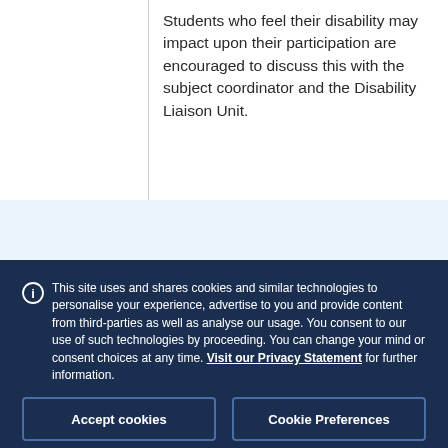Students who feel their disability may impact upon their participation are encouraged to discuss this with the subject coordinator and the Disability Liaison Unit.
This site uses and shares cookies and similar technologies to personalise your experience, advertise to you and provide content from third-parties as well as analyse our usage. You consent to our use of such technologies by proceeding. You can change your mind or consent choices at any time. Visit our Privacy Statement for further information.
Accept cookies
Cookie Preferences